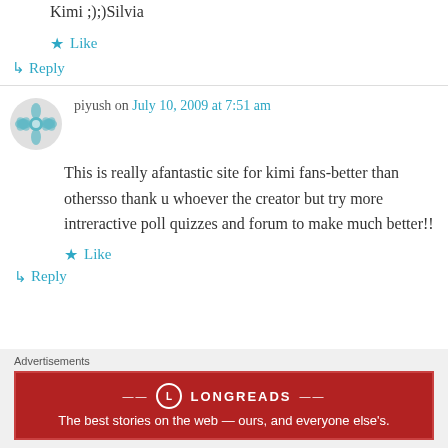Kimi ;);)Silvia
★ Like
↳ Reply
piyush on July 10, 2009 at 7:51 am
This is really afantastic site for kimi fans-better than othersso thank u whoever the creator but try more intreractive poll quizzes and forum to make much better!!
★ Like
↳ Reply
Advertisements
[Figure (logo): Longreads advertisement banner: red background with Longreads logo and tagline 'The best stories on the web — ours, and everyone else's.']